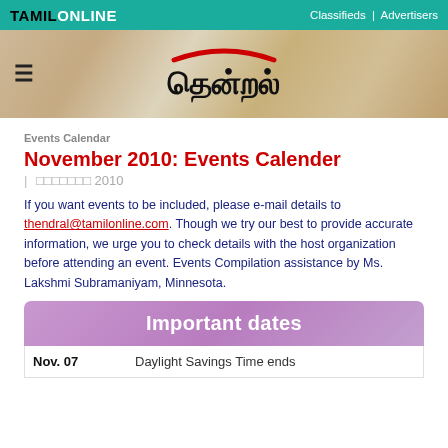TAMILONLINE | Classifieds | Advertisers
[Figure (logo): Thendral Tamil magazine banner with wood-grain background, hamburger menu icon on left, Tamil script logo in center with red arc above]
Events Calendar
November 2010: Events Calender
| நவம்பர் 2010
If you want events to be included, please e-mail details to thendral@tamilonline.com. Though we try our best to provide accurate information, we urge you to check details with the host organization before attending an event. Events Compilation assistance by Ms. Lakshmi Subramaniyam, Minnesota.
Important dates
| Date | Event |
| --- | --- |
| Nov. 07 | Daylight Savings Time ends |